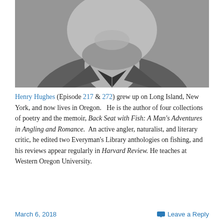[Figure (photo): Black and white close-up photo of a person, showing the lower face, neck, and shoulders, wearing a zip-up jacket.]
Henry Hughes (Episode 217 & 272) grew up on Long Island, New York, and now lives in Oregon.  He is the author of four collections of poetry and the memoir, Back Seat with Fish: A Man's Adventures in Angling and Romance.  An active angler, naturalist, and literary critic, he edited two Everyman's Library anthologies on fishing, and his reviews appear regularly in Harvard Review. He teaches at Western Oregon University.
March 6, 2018    Leave a Reply